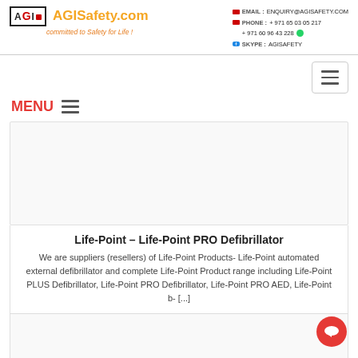AGISafety.com — committed to Safety for Life! | EMAIL: ENQUIRY@AGISAFETY.COM | PHONE: +971 65 03 05 217, +971 60 96 43 228 | SKYPE: AGISAFETY
MENU
Life-Point – Life-Point PRO Defibrillator
We are suppliers (resellers) of Life-Point Products- Life-Point automated external defibrillator and complete Life-Point Product range including Life-Point PLUS Defibrillator, Life-Point PRO Defibrillator, Life-Point PRO AED, Life-Point b- [...]